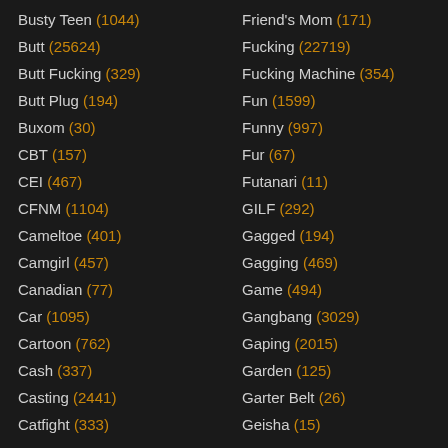Busty Teen (1044)
Butt (25624)
Butt Fucking (329)
Butt Plug (194)
Buxom (30)
CBT (157)
CEI (467)
CFNM (1104)
Cameltoe (401)
Camgirl (457)
Canadian (77)
Car (1095)
Cartoon (762)
Cash (337)
Casting (2441)
Catfight (333)
Friend's Mom (171)
Fucking (22719)
Fucking Machine (354)
Fun (1599)
Funny (997)
Fur (67)
Futanari (11)
GILF (292)
Gagged (194)
Gagging (469)
Game (494)
Gangbang (3029)
Gaping (2015)
Garden (125)
Garter Belt (26)
Geisha (15)